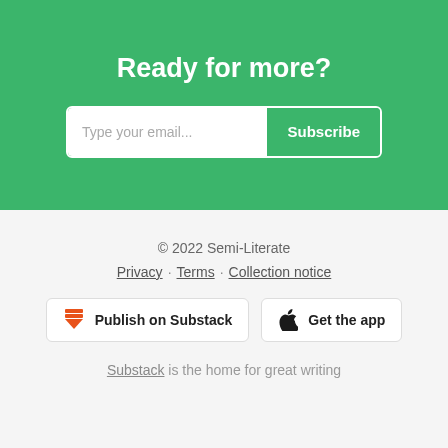Ready for more?
Type your email... Subscribe
© 2022 Semi-Literate
Privacy · Terms · Collection notice
Publish on Substack
Get the app
Substack is the home for great writing